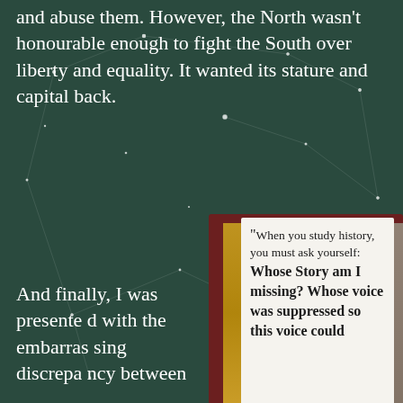and abuse them. However, the North wasn't honourable enough to fight the South over liberty and equality. It wanted its stature and capital back.
And finally, I was presented with the embarrassing discrepancy between
[Figure (photo): A handwritten note on white paper placed on top of books/fabric, reading: "When you study history, you must ask yourself: Whose Story am I missing? Whose voice was suppressed so this voice could..."]